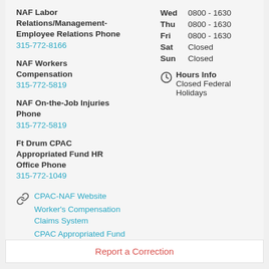NAF Labor Relations/Management-Employee Relations Phone
315-772-8166
NAF Workers Compensation
315-772-5819
NAF On-the-Job Injuries Phone
315-772-5819
Ft Drum CPAC Appropriated Fund HR Office Phone
315-772-1049
| Day | Hours |
| --- | --- |
| Wed | 0800 - 1630 |
| Thu | 0800 - 1630 |
| Fri | 0800 - 1630 |
| Sat | Closed |
| Sun | Closed |
Hours Info
Closed Federal Holidays
CPAC-NAF Website
Worker's Compensation Claims System
CPAC Appropriated Fund Office
Report a Correction